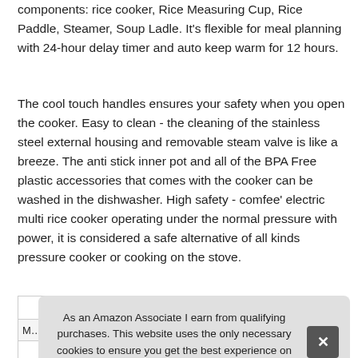components: rice cooker, Rice Measuring Cup, Rice Paddle, Steamer, Soup Ladle. It's flexible for meal planning with 24-hour delay timer and auto keep warm for 12 hours.
The cool touch handles ensures your safety when you open the cooker. Easy to clean - the cleaning of the stainless steel external housing and removable steam valve is like a breeze. The anti stick inner pot and all of the BPA Free plastic accessories that comes with the cooker can be washed in the dishwasher. High safety - comfee' electric multi rice cooker operating under the normal pressure with power, it is considered a safe alternative of all kinds pressure cooker or cooking on the stove.
As an Amazon Associate I earn from qualifying purchases. This website uses the only necessary cookies to ensure you get the best experience on our website. More information